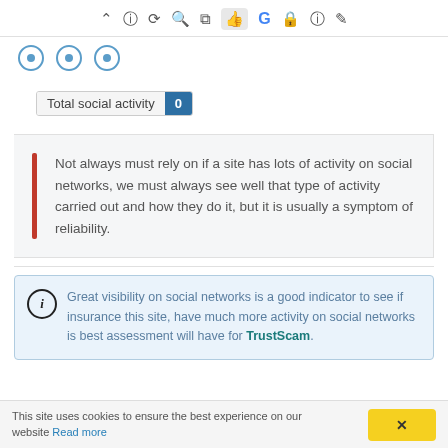[Figure (screenshot): Toolbar with icons: chevron up, info circle, refresh circle, search, bar chart, thumbs up (active/highlighted), G logo, lock, help circle, pencil]
[Figure (other): Three radio/circle icons in blue]
Total social activity  0
Not always must rely on if a site has lots of activity on social networks, we must always see well that type of activity carried out and how they do it, but it is usually a symptom of reliability.
Great visibility on social networks is a good indicator to see if insurance this site, have much more activity on social networks is best assessment will have for TrustScam.
This site uses cookies to ensure the best experience on our website Read more